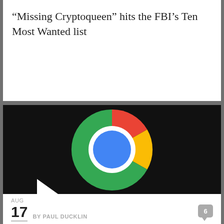“Missing Cryptoqueen” hits the FBI’s Ten Most Wanted list
[Figure (logo): Google Chrome logo on black background — colorful circle with red, yellow, green segments and blue center circle]
AUG
17  BY PAUL DUCKLIN  6
Chrome browser gets 11 security fixes with 1 zero-day – update now!